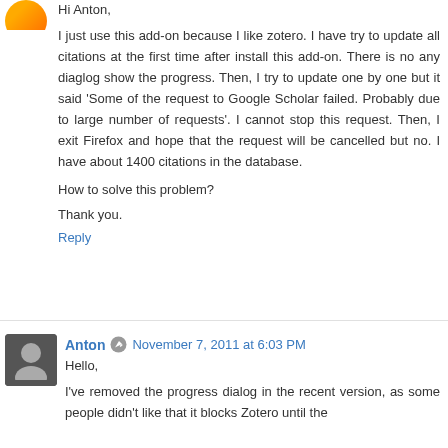Hi Anton,
I just use this add-on because I like zotero. I have try to update all citations at the first time after install this add-on. There is no any diaglog show the progress. Then, I try to update one by one but it said 'Some of the request to Google Scholar failed. Probably due to large number of requests'. I cannot stop this request. Then, I exit Firefox and hope that the request will be cancelled but no. I have about 1400 citations in the database.
How to solve this problem?
Thank you.
Reply
Anton · November 7, 2011 at 6:03 PM
Hello,
I've removed the progress dialog in the recent version, as some people didn't like that it blocks Zotero until the